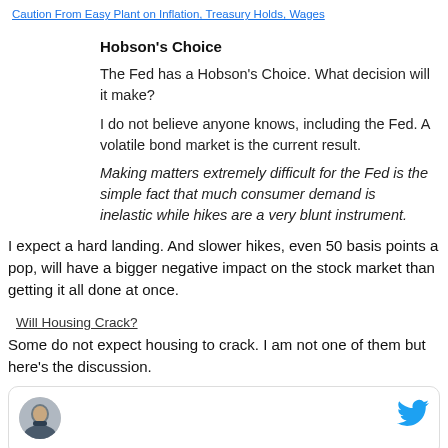Caution From Easy Plant on Inflation, Treasury Holds, Wages
Hobson's Choice
The Fed has a Hobson's Choice. What decision will it make?
I do not believe anyone knows, including the Fed. A volatile bond market is the current result.
Making matters extremely difficult for the Fed is the simple fact that much consumer demand is inelastic while hikes are a very blunt instrument.
I expect a hard landing. And slower hikes, even 50 basis points a pop, will have a bigger negative impact on the stock market than getting it all done at once.
Will Housing Crack?
Some do not expect housing to crack. I am not one of them but here's the discussion.
[Figure (other): Tweet card with avatar photo of a man in a suit and blue Twitter bird icon]